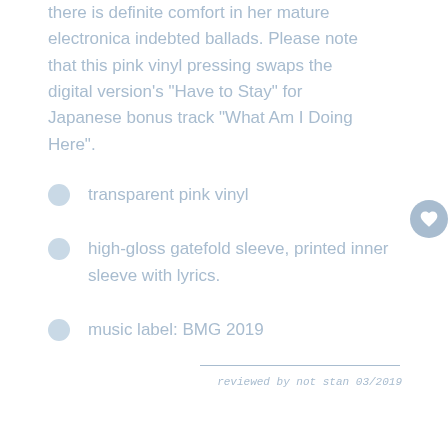there is definite comfort in her mature electronica indebted ballads. Please note that this pink vinyl pressing swaps the digital version's "Have to Stay" for Japanese bonus track "What Am I Doing Here".
transparent pink vinyl
high-gloss gatefold sleeve, printed inner sleeve with lyrics.
music label: BMG 2019
reviewed by not stan 03/2019